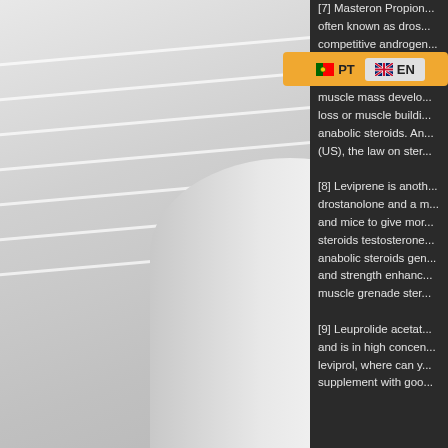[Figure (photo): White/grey architectural interior photo showing slatted ceiling panels and a curved cylindrical column or surface at the bottom, in light grey tones.]
[Figure (screenshot): Language switcher UI element showing PT (Portugal flag) and EN (UK flag) buttons on an orange/amber background.]
[7] Masteron Propion... often known as dros... competitive androgen... inhibition of an aroma... testes is due to the s... muscle mass develo... loss or muscle buildi... anabolic steroids. An... (US), the law on ster...
[8] Leviprene is anoth... drostanolone and a m... and mice to give mor... steroids testosterone... anabolic steroids gen... and strength enhanc... muscle grenade ster...
[9] Leuprolide acetat... and is in high concen... leviprol, where can y... supplement with goo...